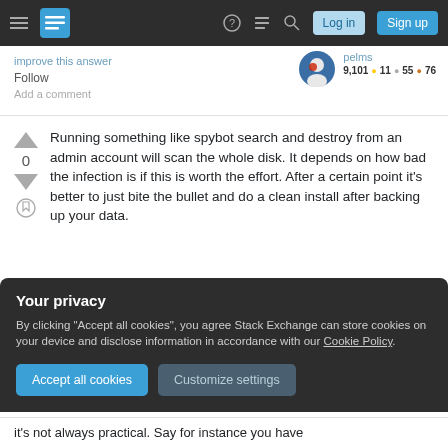Stack Exchange navigation bar with hamburger menu, logo, help, chat, search, Log in and Sign up buttons
improve this answer
Follow
Add a comment
pelms 9,101 ● 11 ● 55 ● 76
Running something like spybot search and destroy from an admin account will scan the whole disk. It depends on how bad the infection is if this is worth the effort. After a certain point it's better to just bite the bullet and do a clean install after backing up your data.
Your privacy
By clicking "Accept all cookies", you agree Stack Exchange can store cookies on your device and disclose information in accordance with our Cookie Policy.
Accept all cookies
Customize settings
it's not always practical. Say for instance you have